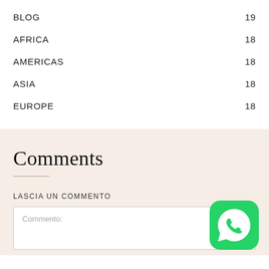BLOG 19
AFRICA 18
AMERICAS 18
ASIA 18
EUROPE 18
Comments
LASCIA UN COMMENTO
Commento: